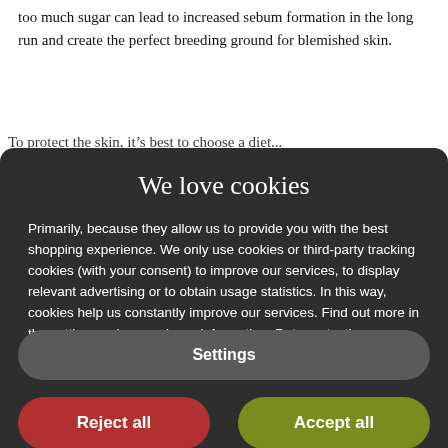too much sugar can lead to increased sebum formation in the long run and create the perfect breeding ground for blemished skin.
To protect...
We love cookies
Primarily, because they allow us to provide you with the best shopping experience. We only use cookies or third-party tracking cookies (with your consent) to improve our services, to display relevant advertising or to obtain usage statistics. In this way, cookies help us constantly improve our services. Find out more in the settings or in our privacy information. Data protection information
Settings
Reject all
Accept all